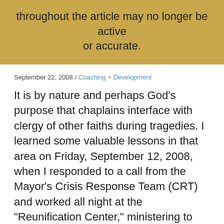throughout the article may no longer be active or accurate.
September 22, 2008 / Coaching + Development
It is by nature and perhaps God’s purpose that chaplains interface with clergy of other faiths during tragedies. I learned some valuable lessons in that area on Friday, September 12, 2008, when I responded to a call from the Mayor’s Crisis Response Team (CRT) and worked all night at the “Reunification Center,” ministering to the families of the 25 people killed in the Metrolink train crash in Chatsworth, CA.